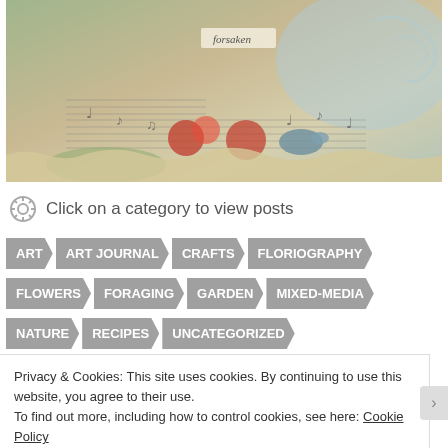[Figure (photo): Mixed media / collage art piece showing sheet music, watercolor washes in greens, blues, and browns, with illustrated flowers and a bird. A label reading 'forsaken' is visible near the top center.]
Click on a category to view posts
ART  ART JOURNAL  CRAFTS  FLORIOGRAPHY
FLOWERS  FORAGING  GARDEN  MIXED-MEDIA
NATURE  RECIPES  UNCATEGORIZED
Privacy & Cookies: This site uses cookies. By continuing to use this website, you agree to their use.
To find out more, including how to control cookies, see here: Cookie Policy
Close and accept